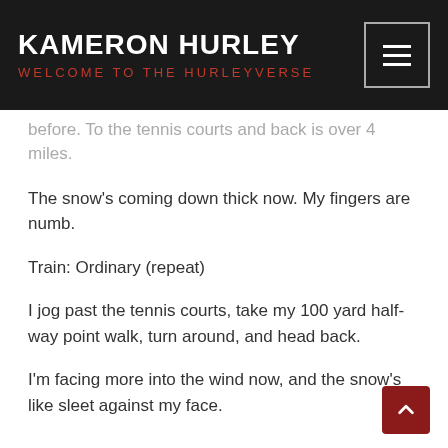KAMERON HURLEY — WELCOME TO THE HURLEYVERSE
before. To the tennis courts and back is over 4 miles.
The snow's coming down thick now. My fingers are numb.
Train: Ordinary (repeat)
I jog past the tennis courts, take my 100 yard half-way point walk, turn around, and head back.
I'm facing more into the wind now, and the snow's like sleet against my face.